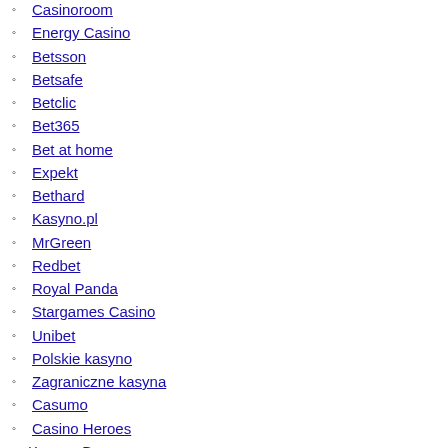Casinoroom
Energy Casino
Betsson
Betsafe
Betclic
Bet365
Bet at home
Expekt
Bethard
Kasyno.pl
MrGreen
Redbet
Royal Panda
Stargames Casino
Unibet
Polskie kasyno
Zagraniczne kasyna
Casumo
Casino Heroes
Kasyno Bonus
Kasyno Bonus
Kasyno bonus bez depozytu
Kasyno bonus od depozytu
Kasyno bonus za rejestrację
Kasyno bonus powitalny
Mobilne Kasyno